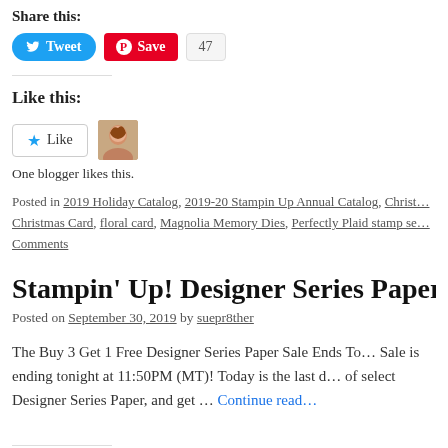Share this:
[Figure (screenshot): Share buttons: Tweet (blue Twitter button), Save (red Pinterest button), and count badge showing 47]
Like this:
[Figure (screenshot): Like button with star icon and a blogger avatar photo]
One blogger likes this.
Posted in 2019 Holiday Catalog, 2019-20 Stampin Up Annual Catalog, Christmas Card, floral card, Magnolia Memory Dies, Perfectly Plaid stamp se… Comments
Stampin' Up! Designer Series Paper Sal…
Posted on September 30, 2019 by suepr8ther
The Buy 3 Get 1 Free Designer Series Paper Sale Ends To… Sale is ending tonight at 11:50PM (MT)! Today is the last d… of select Designer Series Paper, and get … Continue reading